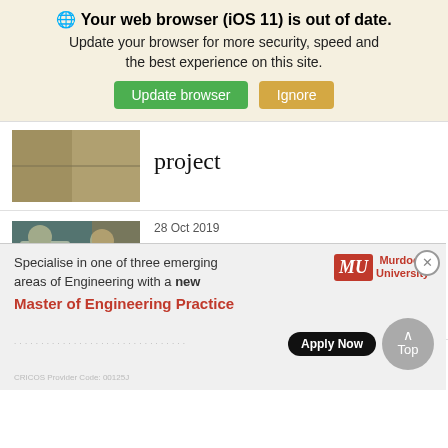🌐 Your web browser (iOS 11) is out of date. Update your browser for more security, speed and the best experience on this site.
Update browser | Ignore
[Figure (photo): Partial thumbnail of a previous article about a project]
project
[Figure (photo): Two men standing in front of a graffiti wall]
28 Oct 2019
Data helps drive optimal outcomes
[Figure (photo): Partial thumbnail of another article]
[Figure (infographic): Murdoch University advertisement: Specialise in one of three emerging areas of Engineering with a new Master of Engineering Practice. Apply Now button and Murdoch University logo.]